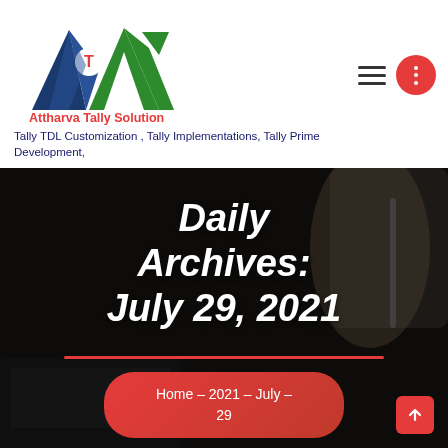[Figure (logo): Attharva Tally Solution logo with geometric A shapes in blue and green, with a red T. Brand name 'Attharva Tally Solution' in red below.]
Tally TDL Customization , Tally Implementations, Tally Prime Development,
[Figure (infographic): Hero banner with dark background photo of hands writing/working, overlaid with bold italic white text 'Daily Archives: July 29, 2021', a red horizontal underline, and a red rounded pill breadcrumb reading 'Home - 2021 - July - 29'. Red scroll-up arrow button in bottom-right corner.]
Home  –  2021  –  July  –  29